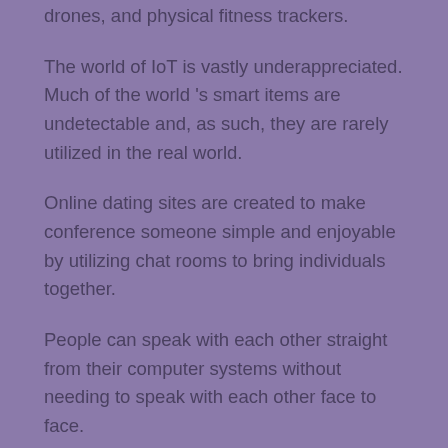drones, and physical fitness trackers.
The world of IoT is vastly underappreciated. Much of the world 's smart items are undetectable and, as such, they are rarely utilized in the real world.
Online dating sites are created to make conference someone simple and enjoyable by utilizing chat rooms to bring individuals together.
People can speak with each other straight from their computer systems without needing to speak with each other face to face.
Numerous users of Chaturbate prefer having the ability to interact with models on their site. That's one reason why they visit the website regularly.
Other users like to see the videos of live broadcasts. It gives them a chance to see how well they can communicate with models